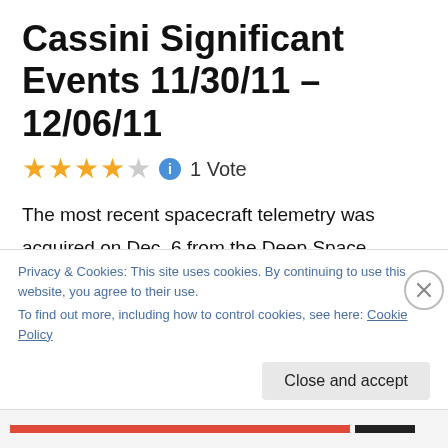Cassini Significant Events 11/30/11 – 12/06/11
1 Vote
The most recent spacecraft telemetry was acquired on Dec. 6 from the Deep Space Network tracking complex at Canberra, Australia. The Cassini spacecraft is in an excellent state of health and with the exception of the CAPS instrument being powered off, all subsystems are operating normally. Information on the present position
Privacy & Cookies: This site uses cookies. By continuing to use this website, you agree to their use.
To find out more, including how to control cookies, see here: Cookie Policy